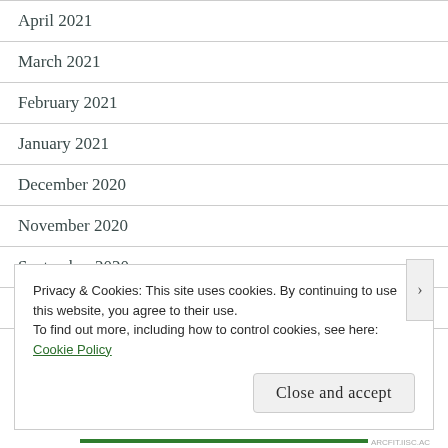April 2021
March 2021
February 2021
January 2021
December 2020
November 2020
September 2020
August 2020
July 2020
Privacy & Cookies: This site uses cookies. By continuing to use this website, you agree to their use.
To find out more, including how to control cookies, see here: Cookie Policy
Close and accept